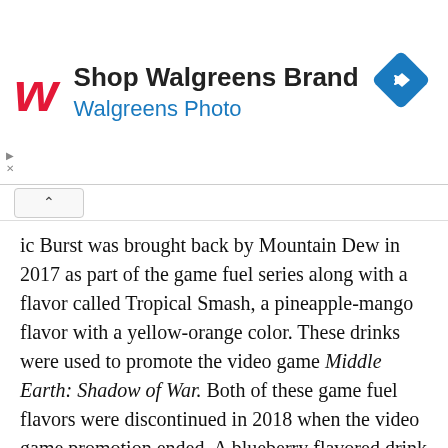[Figure (logo): Walgreens advertisement banner with red cursive W logo, text 'Shop Walgreens Brand' and 'Walgreens Photo' in blue, and a blue diamond-shaped navigation icon on the right]
ic Burst was brought back by Mountain Dew in 2017 as part of the game fuel series along with a flavor called Tropical Smash, a pineapple-mango flavor with a yellow-orange color. These drinks were used to promote the video game Middle Earth: Shadow of War. Both of these game fuel flavors were discontinued in 2018 when the video game promotion ended. A blueberry flavored drink just doesn't seem to be a very popular choice. If soda drinkers were clamoring for a blueberry soda or Slurpee it would be able to stand on its own and not have to be part of a limited-time promotion.